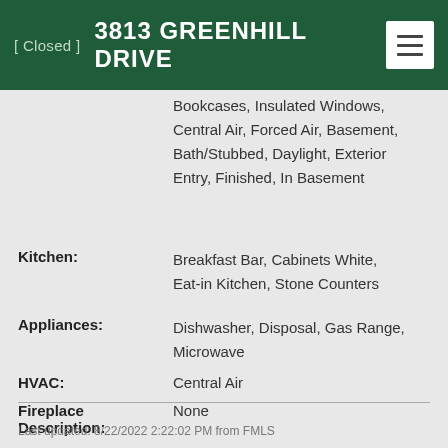[ Closed ]  3813 GREENHILL DRIVE
Bookcases, Insulated Windows, Central Air, Forced Air, Basement, Bath/Stubbed, Daylight, Exterior Entry, Finished, In Basement
Kitchen: Breakfast Bar, Cabinets White, Eat-in Kitchen, Stone Counters
Appliances: Dishwasher, Disposal, Gas Range, Microwave
HVAC: Central Air
Fireplace Description: None
Last updated: 8/22/2022 2:22:02 PM from FMLS